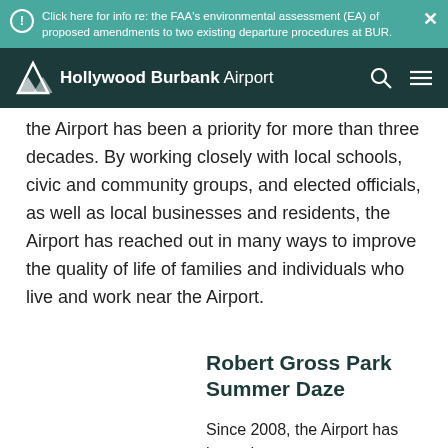Click here for info re: the FAA's environmental assessment (EA) of proposed amendments to two existing departure procedures at BUR.
Hollywood Burbank Airport
the Airport has been a priority for more than three decades. By working closely with local schools, civic and community groups, and elected officials, as well as local businesses and residents, the Airport has reached out in many ways to improve the quality of life of families and individuals who live and work near the Airport.
Robert Gross Park Summer Daze
Since 2008, the Airport has hosted over